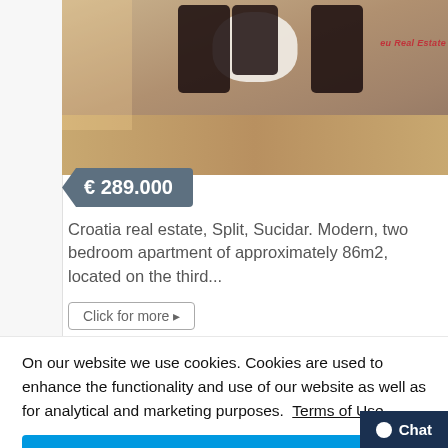[Figure (photo): Interior room photo showing a dining table with white tablecloth, patterned chairs, and wooden floor. Watermark reads 'eu Real Estate' in red.]
€ 289.000
Croatia real estate, Split, Sucidar. Modern, two bedroom apartment of approximately 86m2, located on the third...
Click for more ▸
On our website we use cookies. Cookies are used to enhance the functionality and use of our website as well as for analytical and marketing purposes.  Terms of Use
I accept Cookies
Chat